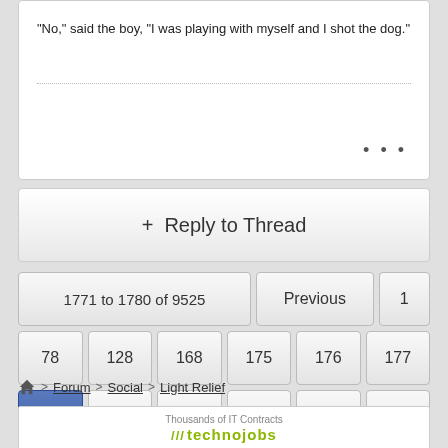"No," said the boy, "I was playing with myself and I shot the dog."
+ Reply to Thread
1771 to 1780 of 9525
Previous | 1 | 78 | 128 | 168 | 175 | 176 | 177 | 178 (current) | 179 | 180 | 181 | 188 | 228 | 278 | 678 | 953 | Next
Forum > Social > Light Relief
Thousands of IT Contracts technojobs